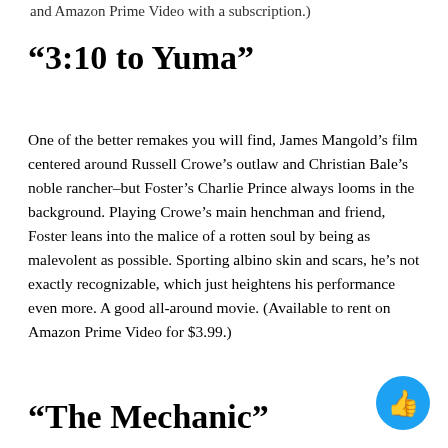and Amazon Prime Video with a subscription.)
“3:10 to Yuma”
One of the better remakes you will find, James Mangold’s film centered around Russell Crowe’s outlaw and Christian Bale’s noble rancher–but Foster’s Charlie Prince always looms in the background. Playing Crowe’s main henchman and friend, Foster leans into the malice of a rotten soul by being as malevolent as possible. Sporting albino skin and scars, he’s not exactly recognizable, which just heightens his performance even more. A good all-around movie. (Available to rent on Amazon Prime Video for $3.99.)
“The Mechanic”